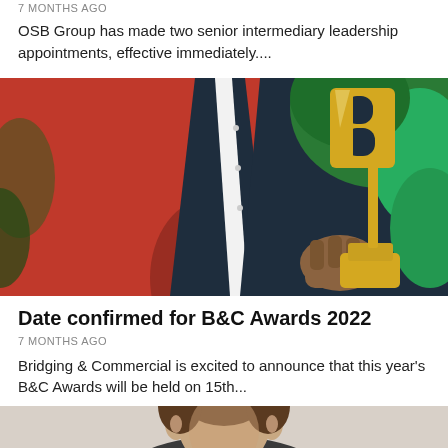7 MONTHS AGO
OSB Group has made two senior intermediary leadership appointments, effective immediately....
[Figure (photo): Person in red jacket and dark suit holding a large gold B&C trophy award, with green foliage in background]
Date confirmed for B&C Awards 2022
7 MONTHS AGO
Bridging & Commercial is excited to announce that this year's B&C Awards will be held on 15th...
[Figure (photo): Partial view of a person's head/face at bottom of page]